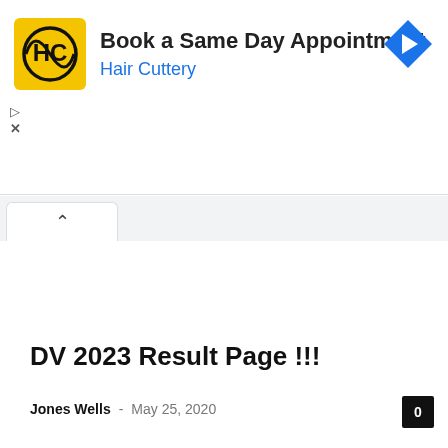[Figure (screenshot): Hair Cuttery advertisement banner: yellow square logo with 'HC' text, headline 'Book a Same Day Appointment', subtext 'Hair Cuttery' in blue, and a blue diamond navigation icon on the right. Play and close (X) controls on the left side.]
DV 2023 Result Page !!!
Jones Wells  -  May 25, 2020